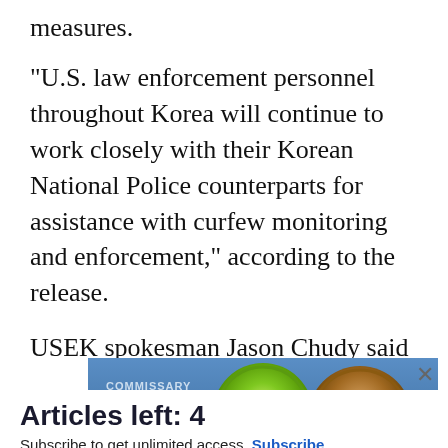measures.
"U.S. law enforcement personnel throughout Korea will continue to work closely with their Korean National Police counterparts for assistance with curfew monitoring and enforcement," according to the release.
USEK spokesman Jason Chudy said the curfew
[Figure (screenshot): Advertisement banner for Commissary Click2Go with green circular logo and Commissary badge logo on blue gradient background. Text reads 'COMMISSARY CLICK2GO' and 'order groceries | PICKUP'.]
Articles left: 4
Subscribe to get unlimited access  Subscribe
Already have an account?  Login here